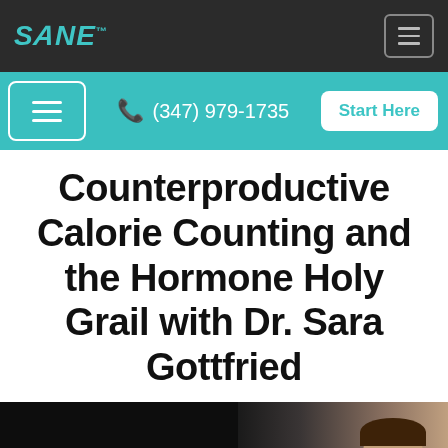SANE™ — navigation logo and menu button
(347) 979-1735 — Start Here
Counterproductive Calorie Counting and the Hormone Holy Grail with Dr. Sara Gottfried
[Figure (photo): Video thumbnail showing a dark background with a person (Dr. Sara Gottfried) visible on the right side of the frame.]